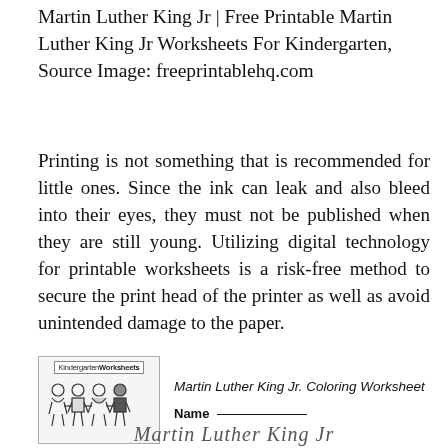Martin Luther King Jr | Free Printable Martin Luther King Jr Worksheets For Kindergarten, Source Image: freeprintablehq.com
Printing is not something that is recommended for little ones. Since the ink can leak and also bleed into their eyes, they must not be published when they are still young. Utilizing digital technology for printable worksheets is a risk-free method to secure the print head of the printer as well as avoid unintended damage to the paper.
[Figure (illustration): Thumbnail of a Kindergarten Worksheets page showing the 'Martin Luther King Jr. Coloring Worksheet' with a Name field and decorative child figures at the bottom.]